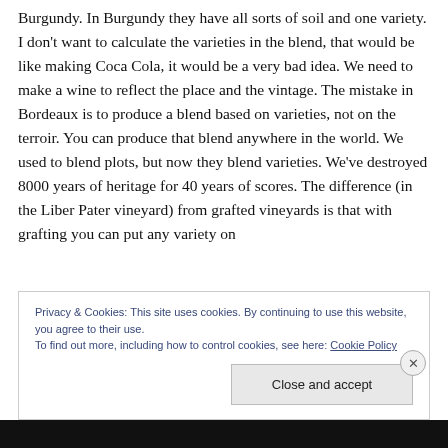Burgundy. In Burgundy they have all sorts of soil and one variety. I don't want to calculate the varieties in the blend, that would be like making Coca Cola, it would be a very bad idea. We need to make a wine to reflect the place and the vintage. The mistake in Bordeaux is to produce a blend based on varieties, not on the terroir. You can produce that blend anywhere in the world. We used to blend plots, but now they blend varieties. We've destroyed 8000 years of heritage for 40 years of scores. The difference (in the Liber Pater vineyard) from grafted vineyards is that with grafting you can put any variety on
Privacy & Cookies: This site uses cookies. By continuing to use this website, you agree to their use.
To find out more, including how to control cookies, see here: Cookie Policy